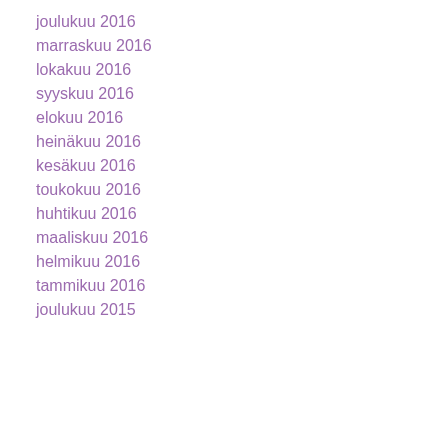joulukuu 2016
marraskuu 2016
lokakuu 2016
syyskuu 2016
elokuu 2016
heinäkuu 2016
kesäkuu 2016
toukokuu 2016
huhtikuu 2016
maaliskuu 2016
helmikuu 2016
tammikuu 2016
joulukuu 2015